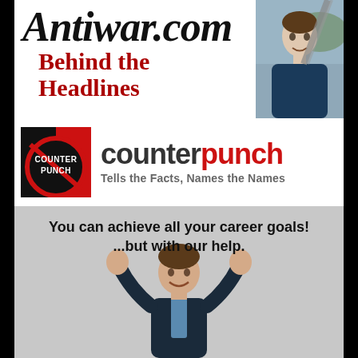[Figure (logo): Antiwar.com Behind the Headlines logo with person photo in top right corner]
[Figure (logo): CounterPunch logo: black and red circular emblem with text 'counterpunch Tells the Facts, Names the Names']
[Figure (illustration): Advertisement with gray background showing person with arms raised in victory pose, text reads 'You can achieve all your career goals! ...but with our help.']